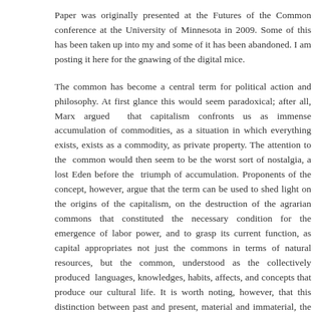Paper was originally presented at the Futures of the Common conference at the University of Minnesota in 2009. Some of this has been taken up into my manuscript and some of it has been abandoned. I am posting it here for the gnawing of the digital mice.
The common has become a central term for political action and philosophy. At first glance this would seem paradoxical; after all, Marx argued that capitalism confronts us as immense accumulation of commodities, as a situation in which everything exists, exists as a commodity, as private property. The attention to the common would then seem to be the worst sort of nostalgia, a lost Eden before the triumph of accumulation. Proponents of the concept, however, argue that the term can be used to shed light on the origins of the capitalism, on the destruction of the agrarian commons that constituted the necessary condition for the emergence of labor power, and to grasp its current function, as capital appropriates not just the commons in terms of natural resources, but the common, understood as the collectively produced languages, knowledges, habits, affects, and concepts that produce our cultural life. It is worth noting, however, that this distinction between past and present, material and immaterial, the immaterial common, is not that rigid.
Read more »
Posted by unemployed negativity at 8:32 AM    No comments:
Labels: Deleuze, Guattari, Lazzarato, Marx, Stiegler, Tarde, transindividu...